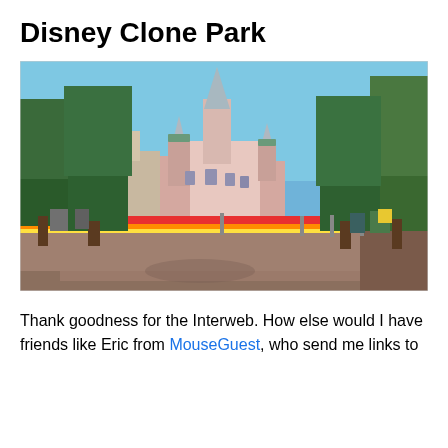Disney Clone Park
[Figure (photo): Photograph of a Disneyland-style castle visible at the end of a wide empty street, flanked by tall green trees. A colorful striped barrier/gate is visible across the road in the middle ground. The sky is clear and blue.]
Thank goodness for the Interweb. How else would I have friends like Eric from MouseGuest, who send me links to